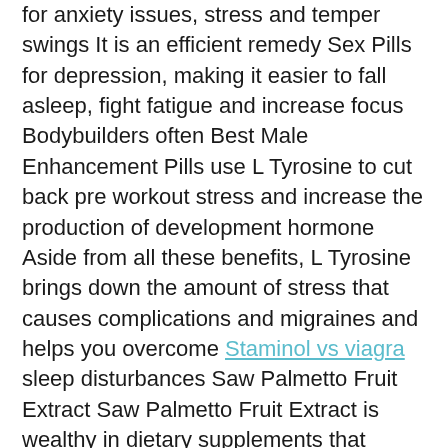for anxiety issues, stress and temper swings It is an efficient remedy Sex Pills for depression, making it easier to fall asleep, fight fatigue and increase focus Bodybuilders often Best Male Enhancement Pills use L Tyrosine to cut back pre workout stress and increase the production of development hormone Aside from all these benefits, L Tyrosine brings down the amount of stress that causes complications and migraines and helps you overcome Staminol vs viagra sleep disturbances Saw Palmetto Fruit Extract Saw Palmetto Fruit Extract is wealthy in dietary supplements that improve electrical energy, endurance, and imperativeness.
Erectile dysfunction, excessive alcohol